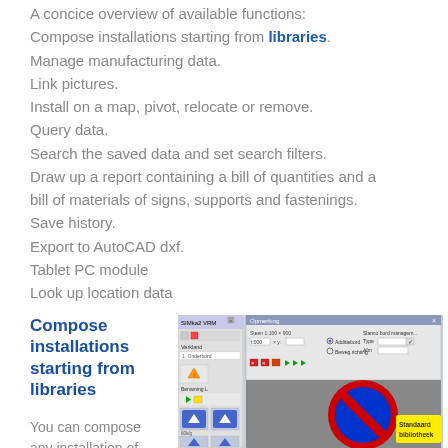A concice overview of available functions:
Compose installations starting from libraries.
Manage manufacturing data.
Link pictures.
Install on a map, pivot, relocate or remove.
Query data.
Search the saved data and set search filters.
Draw up a report containing a bill of quantities and a bill of materials of signs, supports and fastenings.
Save history.
Export to AutoCAD dxf.
Tablet PC module
Look up location data
Compose installations starting from libraries
[Figure (screenshot): Software screenshot showing SIMka2 VRM application with a no-parking road sign displayed and a dialog box open, with toolbar icons and a yellow 'Standaard bibliotheek' label.]
You can compose any installation of